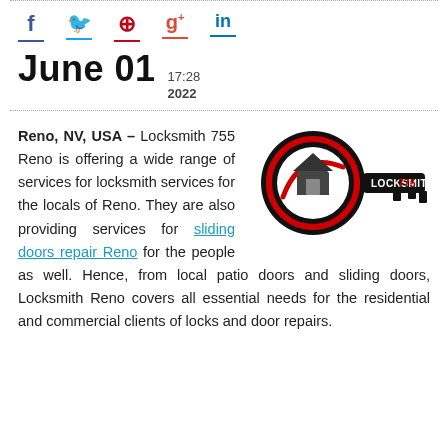[Figure (logo): Social media icons: Facebook (f), Twitter (bird), Pinterest (P), Google+ (g+), LinkedIn (in) with colored underlines]
June 01  17:28  2022
[Figure (logo): Locksmith 775 logo — a black key shape with a red circle and house icon, text LOCKSMITH775]
Reno, NV, USA – Locksmith 755 Reno is offering a wide range of services for locksmith services for the locals of Reno. They are also providing services for sliding doors repair Reno for the people as well. Hence, from local patio doors and sliding doors, Locksmith Reno covers all essential needs for the residential and commercial clients of locks and door repairs.